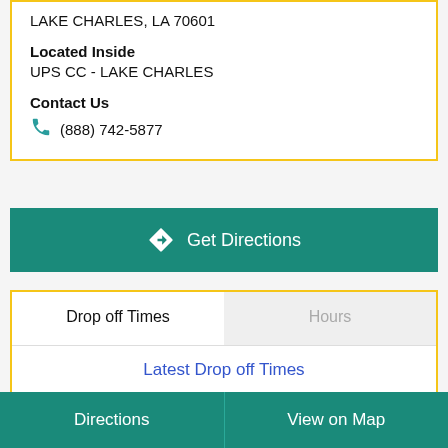LAKE CHARLES, LA 70601
Located Inside
UPS CC - LAKE CHARLES
Contact Us
(888) 742-5877
Get Directions
Drop off Times
Hours
Latest Drop off Times
| Weekday | Ground | Air |
| --- | --- | --- |
| Mon - Fri | 6:00 PM | 6:00 PM |
Directions   View on Map